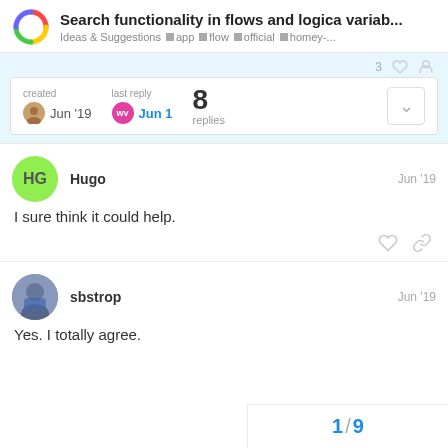Search functionality in flows and logica variab... | Ideas & Suggestions | app | flow | official | homey-...
created Jun '19  last reply wv Jun 1  8 replies
Hugo  Jun '19
I sure think it could help.
sbstrop  Jun '19
Yes. I totally agree.
1 / 9